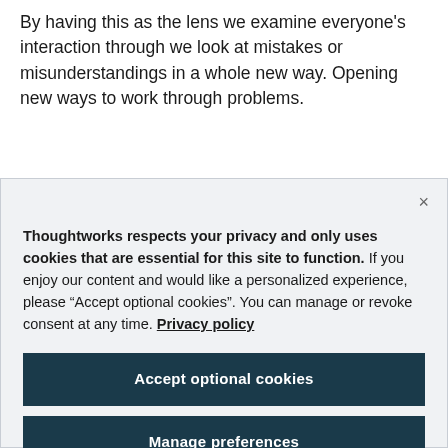By having this as the lens we examine everyone's interaction through we look at mistakes or misunderstandings in a whole new way. Opening new ways to work through problems.
Thoughtworks respects your privacy and only uses cookies that are essential for this site to function. If you enjoy our content and would like a personalized experience, please “Accept optional cookies”. You can manage or revoke consent at any time. Privacy policy
Accept optional cookies
Manage preferences